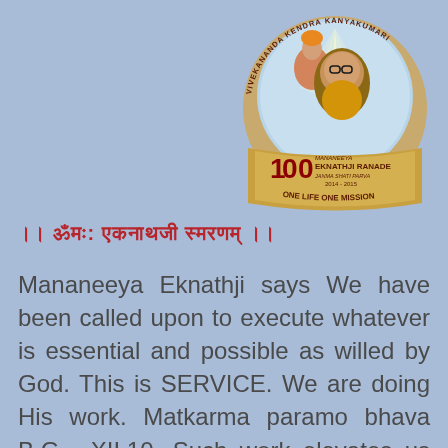[Figure (logo): Vivekananda Kendra Kanyakumari circular logo featuring portraits of Swami Vivekananda and Mananeeya Eknathji Ranade, with '100 Mananeeya Eknathji Ranade Janma Shati Parva 2014-2015 One Life One Mission' text on gold banner]
|| ॐ तत् सत्: एकनाथजी स्मरणम् ||
Mananeeya Eknathji says We have been called upon to execute whatever is essential and possible as willed by God. This is SERVICE. We are doing His work. Matkarma paramo bhava B.G. XII.10. Such work elevates us and leads to Self-realization, which is the supreme goal of human life. This work is the means for...